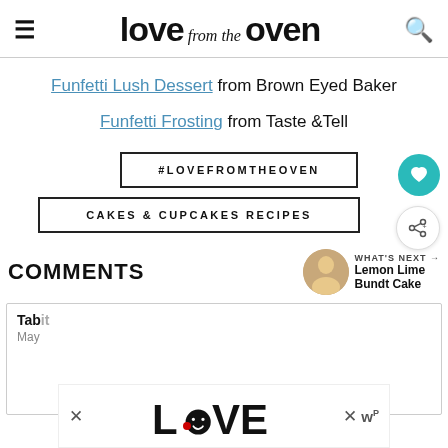love from the oven
Funfetti Lush Dessert from Brown Eyed Baker
Funfetti Frosting from Taste &Tell
#LOVEFROMTHEOVEN
CAKES & CUPCAKES RECIPES
COMMENTS
WHAT'S NEXT → Lemon Lime Bundt Cake
Tabitha
May
[Figure (logo): LOVE decorative text logo advertisement overlay]